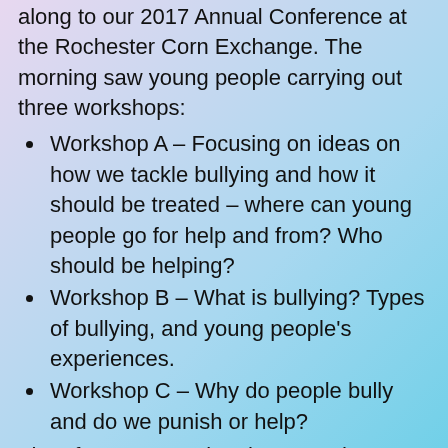along to our 2017 Annual Conference at the Rochester Corn Exchange. The morning saw young people carrying out three workshops:
Workshop A – Focusing on ideas on how we tackle bullying and how it should be treated – where can young people go for help and from? Who should be helping?
Workshop B – What is bullying? Types of bullying, and young people's experiences.
Workshop C – Why do people bully and do we punish or help?
The afternoon session then saw the young people hearing from Councillor Nick Bowler who spoke